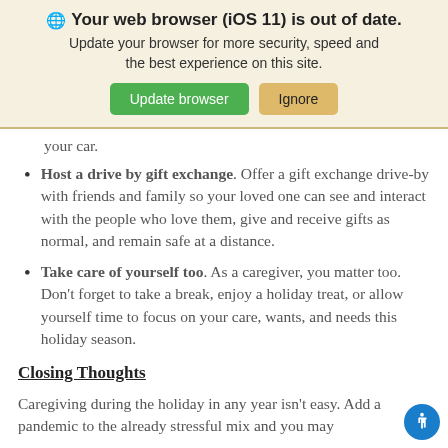🌐 Your web browser (iOS 11) is out of date. Update your browser for more security, speed and the best experience on this site. [Update browser] [Ignore]
your car.
Host a drive by gift exchange. Offer a gift exchange drive-by with friends and family so your loved one can see and interact with the people who love them, give and receive gifts as normal, and remain safe at a distance.
Take care of yourself too. As a caregiver, you matter too. Don't forget to take a break, enjoy a holiday treat, or allow yourself time to focus on your care, wants, and needs this holiday season.
Closing Thoughts
Caregiving during the holiday in any year isn't easy. Add a pandemic to the already stressful mix and you may